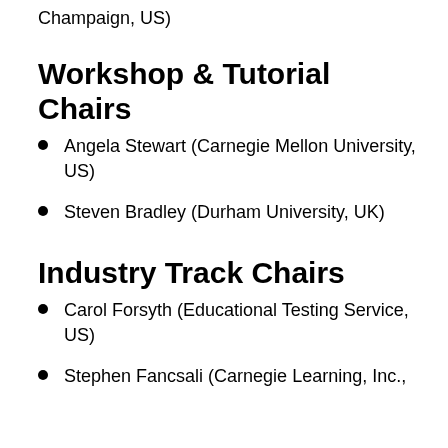Champaign, US)
Workshop & Tutorial Chairs
Angela Stewart (Carnegie Mellon University, US)
Steven Bradley (Durham University, UK)
Industry Track Chairs
Carol Forsyth (Educational Testing Service, US)
Stephen Fancsali (Carnegie Learning, Inc.,